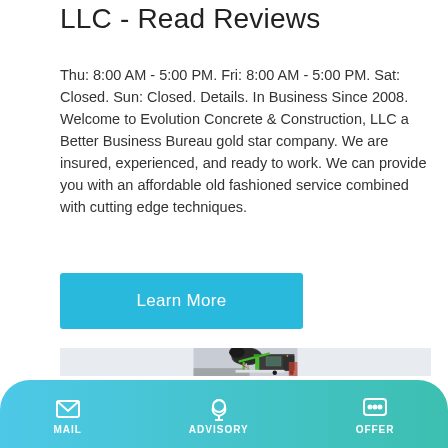LLC - Read Reviews
Thu: 8:00 AM - 5:00 PM. Fri: 8:00 AM - 5:00 PM. Sat: Closed. Sun: Closed. Details. In Business Since 2008. Welcome to Evolution Concrete & Construction, LLC a Better Business Bureau gold star company. We are insured, experienced, and ready to work. We can provide you with an affordable old fashioned service combined with cutting edge techniques.
Learn More
[Figure (photo): A green and black concrete mixer truck / construction machine photographed close-up from the side, showing the mixing drum and cab.]
MAIL  ADVISORY  OFFER